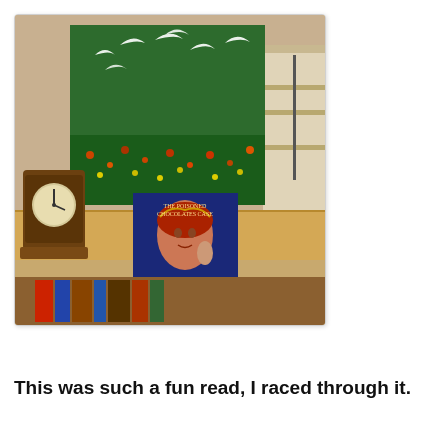[Figure (photo): A photograph of a wooden side table or shelf. On the table surface sits a book with a decorative Art Deco-style cover showing a woman's face, titled with text including 'Anthony Berkeley'. Behind the book is a colorful painting/canvas depicting a green field with flowers and white bird-like shapes. To the left is a wooden mantel clock. To the right are what appear to be file boxes or books standing upright. Below the table are more books stacked horizontally.]
This was such a fun read, I raced through it.